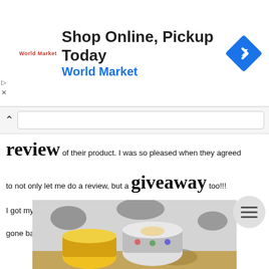[Figure (screenshot): Ad banner for World Market: 'Shop Online, Pickup Today' with World Market logo and blue navigation arrow icon on right]
review of their product. I was so pleased when they agreed to not only let me do a review, but a giveaway too!!!
I got my Munchie Mug in the mail about a week ago, and I haven't gone back to my other snack cups once!!! This mug is AWESOME!!!
[Figure (photo): Photo of Munchie Mug snack cups on a floral background surface]